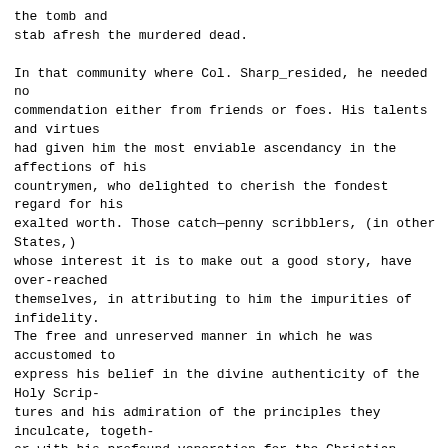the tomb and
stab afresh the murdered dead.

In that community where Col. Sharp_resided, he needed no
commendation either from friends or foes. His talents and virtues
had given him the most enviable ascendancy in the affections of his
countrymen, who delighted to cherish the fondest regard for his
exalted worth. Those catch—penny scribblers, (in other States,)
whose interest it is to make out a good story, have over-reached
themselves, in attributing to him the impurities of infidelity.
The free and unreserved manner in which he was accustomed to
express his belief in the divine authenticity of the Holy Scrip-
tures and his admiration of the principles they inculcate, togeth-
er with his profound veneration for the Christian religion, as a
system of practical truth, calculated pre-eminently to purify the
heart and to renovate the world, will ever protect his memory
from an imputation so unmerited and misapplied.